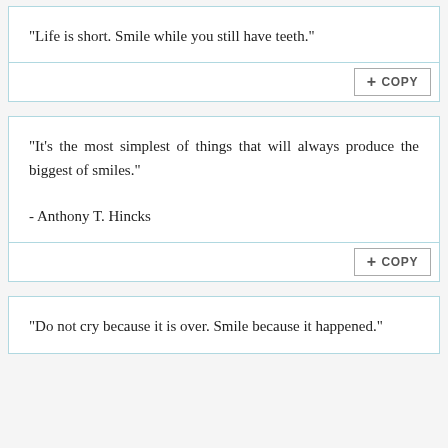"Life is short. Smile while you still have teeth."
"It's the most simplest of things that will always produce the biggest of smiles."

- Anthony T. Hincks
"Do not cry because it is over. Smile because it happened."